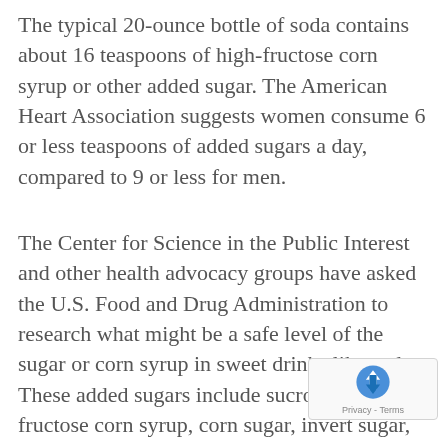The typical 20-ounce bottle of soda contains about 16 teaspoons of high-fructose corn syrup or other added sugar. The American Heart Association suggests women consume 6 or less teaspoons of added sugars a day, compared to 9 or less for men.
The Center for Science in the Public Interest and other health advocacy groups have asked the U.S. Food and Drug Administration to research what might be a safe level of the sugar or corn syrup in sweet drinks like soda. These added sugars include sucrose, high-fructose corn syrup, corn sugar, invert sugar, and corn syrup. They've also asked the government to take the lead in educating the public about the dangers of consuming too much added sugars.